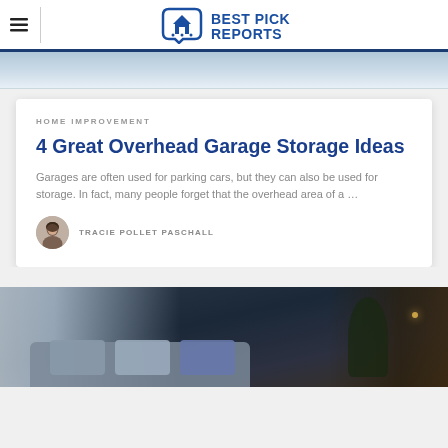BEST PICK REPORTS
[Figure (photo): Partial view of a bright white garage interior, top portion visible]
HOME IMPROVEMENT
4 Great Overhead Garage Storage Ideas
Garages are often used for parking cars, but they can also be used for storage. In fact, many people forget that the overhead area of a …
TRACIE POLLET PASCHALL
[Figure (photo): Nighttime outdoor patio scene with sofa, cushions, and plants with warm lighting]